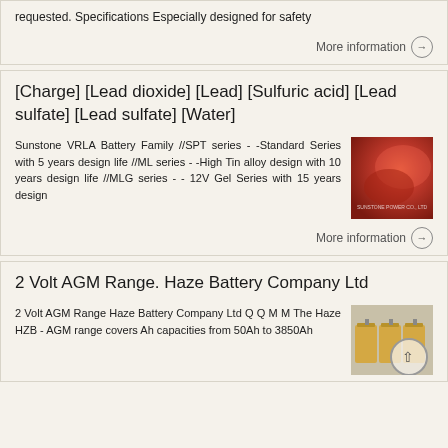requested. Specifications Especially designed for safety
More information →
[Charge] [Lead dioxide] [Lead] [Sulfuric acid] [Lead sulfate] [Lead sulfate] [Water]
Sunstone VRLA Battery Family //SPT series - -Standard Series with 5 years design life //ML series - -High Tin alloy design with 10 years design life //MLG series - - 12V Gel Series with 15 years design
[Figure (photo): Red battery product catalog cover image]
More information →
2 Volt AGM Range. Haze Battery Company Ltd
2 Volt AGM Range Haze Battery Company Ltd Q Q M M The Haze HZB - AGM range covers Ah capacities from 50Ah to 3850Ah
[Figure (photo): Battery product photo - yellow/orange battery units]